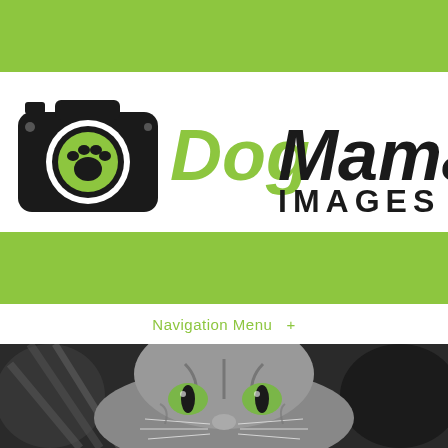[Figure (logo): DogMama Images logo with camera icon containing a green paw print, text 'DogMama' in green and black, 'IMAGES' in black below]
Navigation Menu  +
[Figure (photo): Close-up photo of a gray tabby cat with green eyes, looking directly at camera, surrounded by dark background]